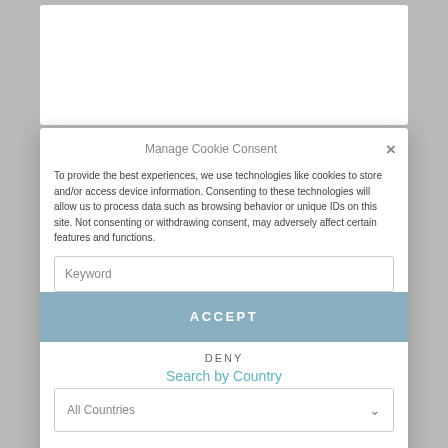[Figure (screenshot): Screenshot of a website showing a 'Manage Cookie Consent' modal dialog overlaid on a cooperatives database search page. The modal has a close (×) button, body text about cookies, an ACCEPT button, DENY button, and VIEW PREFERENCES button. Behind the modal, page content shows 'Search our Cooperatives Database', 'Search by Country' with a dropdown showing 'All Countries', Cookie Policy links, and 'Search by Sector' heading.]
Search our Cooperatives Database
Manage Cookie Consent
To provide the best experiences, we use technologies like cookies to store and/or access device information. Consenting to these technologies will allow us to process data such as browsing behavior or unique IDs on this site. Not consenting or withdrawing consent, may adversely affect certain features and functions.
Keyword
ACCEPT
DENY
Search by Country
All Countries
VIEW PREFERENCES
Cookie Policy   Cookie Policy
Search by Sector